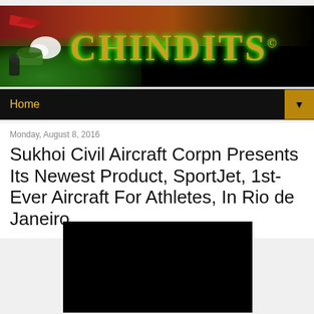[Figure (logo): Chindits website header banner with logo illustration of aircraft/military figures on left, and 'CHINDITS©' text in gold/brown metallic lettering with green glow effect on black background with red-orange gradient stripe]
Home ▼
Monday, August 8, 2016
Sukhoi Civil Aircraft Corpn Presents Its Newest Product, SportJet, 1st-Ever Aircraft For Athletes, In Rio de Janeiro
[Figure (photo): Black image placeholder / embedded video player]